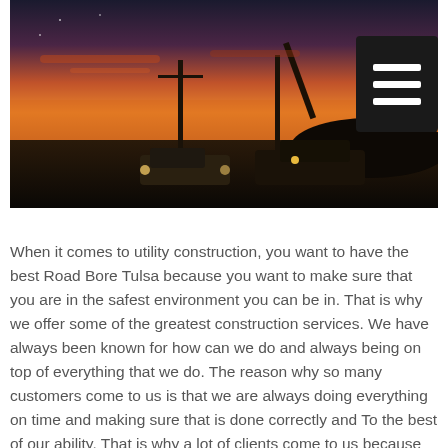[Figure (photo): Photograph of utility construction vehicles at dusk/sunset. A bucket truck and white pickup truck are parked on a dirt lot with utility poles visible. The sky shows a colorful orange and purple sunset. A dark hamburger menu button is overlaid in the top-right corner of the image.]
When it comes to utility construction, you want to have the best Road Bore Tulsa because you want to make sure that you are in the safest environment you can be in. That is why we offer some of the greatest construction services. We have always been known for how can we do and always being on top of everything that we do. The reason why so many customers come to us is that we are always doing everything on time and making sure that is done correctly and To the best of our ability. That is why a lot of clients come to us because they know how reliable we are and how we have some of the best